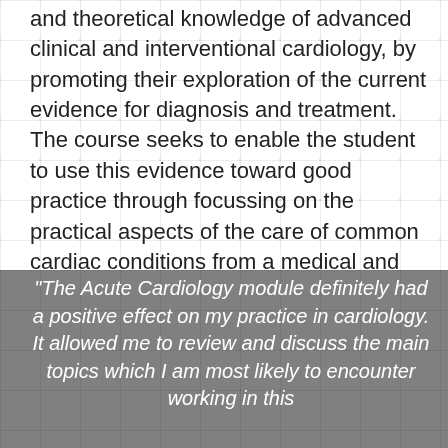and theoretical knowledge of advanced clinical and interventional cardiology, by promoting their exploration of the current evidence for diagnosis and treatment. The course seeks to enable the student to use this evidence toward good practice through focussing on the practical aspects of the care of common cardiac conditions from a medical and patient perspective. In addition, the course aims to promote a wider understanding of the differing profiles and contributory roles of the various health care professionals involved in the care of cardiac patients.
"The Acute Cardiology module definitely had a positive effect on my practice in cardiology. It allowed me to review and discuss the main topics which I am most likely to encounter working in this